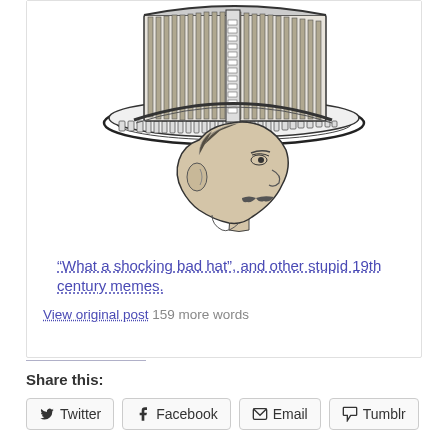[Figure (illustration): Vintage engraving of a man's head in profile wearing an elaborate mechanical/musical hat structure with vertical pipes or reeds and a circular brim mechanism]
“What a shocking bad hat”, and other stupid 19th century memes.
View original post 159 more words
Share this:
Twitter
Facebook
Email
Tumblr